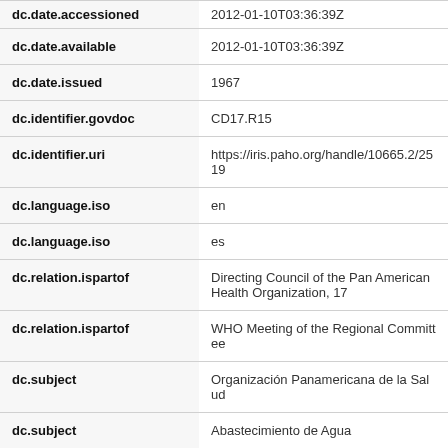| Field | Value |
| --- | --- |
| dc.date.accessioned | 2012-01-10T03:36:39Z |
| dc.date.available | 2012-01-10T03:36:39Z |
| dc.date.issued | 1967 |
| dc.identifier.govdoc | CD17.R15 |
| dc.identifier.uri | https://iris.paho.org/handle/10665.2/2519 |
| dc.language.iso | en |
| dc.language.iso | es |
| dc.relation.ispartof | Directing Council of the Pan American Health Organization, 17 |
| dc.relation.ispartof | WHO Meeting of the Regional Committee |
| dc.subject | Organización Panamericana de la Salud |
| dc.subject | Abastecimiento de Agua |